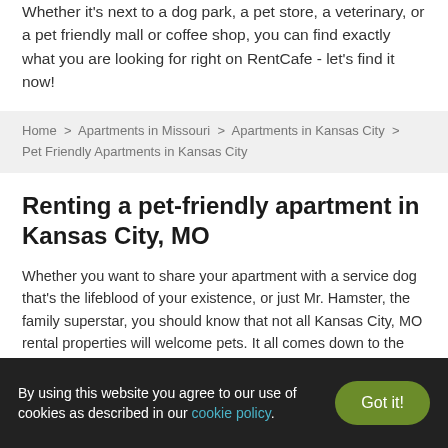Whether it's next to a dog park, a pet store, a veterinary, or a pet friendly mall or coffee shop, you can find exactly what you are looking for right on RentCafe - let's find it now!
Home > Apartments in Missouri > Apartments in Kansas City > Pet Friendly Apartments in Kansas City
Renting a pet-friendly apartment in Kansas City, MO
Whether you want to share your apartment with a service dog that's the lifeblood of your existence, or just Mr. Hamster, the family superstar, you should know that not all Kansas City, MO rental properties will welcome pets. It all comes down to the pet policy in place at the community of your choice. Some landlords always have their arguments against them: cats destroy furniture, a bird is always loud, your dog will eat the doormat—we've heard them all... And regardless if their assumptions have anything to do with the reality, there's not much you can do to make them change their minds. This used to make finding pet-friendly units really challenging, but we have the
By using this website you agree to our use of cookies as described in our cookie policy.